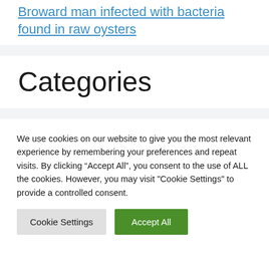Broward man infected with bacteria found in raw oysters
Categories
We use cookies on our website to give you the most relevant experience by remembering your preferences and repeat visits. By clicking “Accept All”, you consent to the use of ALL the cookies. However, you may visit "Cookie Settings" to provide a controlled consent.
Cookie Settings | Accept All